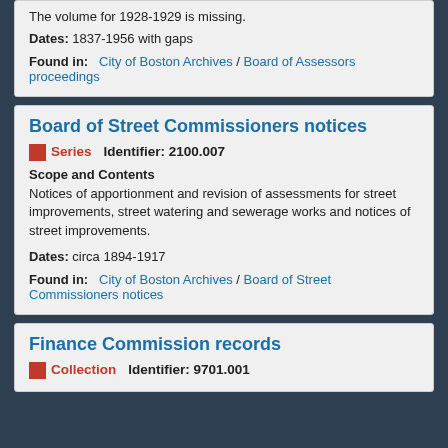The volume for 1928-1929 is missing.
Dates: 1837-1956 with gaps
Found in: City of Boston Archives / Board of Assessors proceedings
Board of Street Commissioners notices
Series   Identifier: 2100.007
Scope and Contents
Notices of apportionment and revision of assessments for street improvements, street watering and sewerage works and notices of street improvements.
Dates: circa 1894-1917
Found in: City of Boston Archives / Board of Street Commissioners notices
Finance Commission records
Collection   Identifier: 9701.001